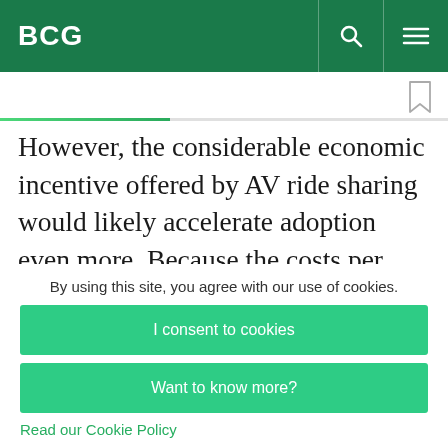BCG
However, the considerable economic incentive offered by AV ride sharing would likely accelerate adoption even more. Because the costs per kilometer would be distributed across several passengers, ride sharing could reduce the car cost
By using this site, you agree with our use of cookies.
I consent to cookies
Want to know more?
Read our Cookie Policy